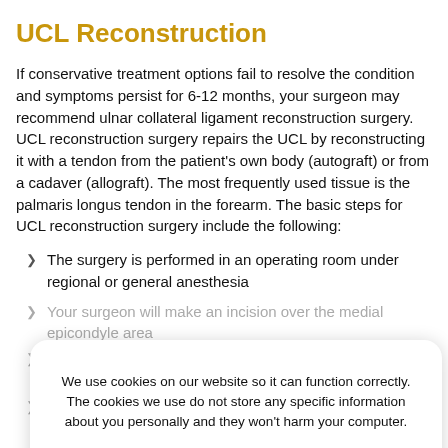UCL Reconstruction
If conservative treatment options fail to resolve the condition and symptoms persist for 6-12 months, your surgeon may recommend ulnar collateral ligament reconstruction surgery. UCL reconstruction surgery repairs the UCL by reconstructing it with a tendon from the patient's own body (autograft) or from a cadaver (allograft). The most frequently used tissue is the palmaris longus tendon in the forearm. The basic steps for UCL reconstruction surgery include the following:
The surgery is performed in an operating room under regional or general anesthesia
Your surgeon will make an incision over the medial epicondyle area
Care is taken to move muscles, tendons, and nerves out of the way
The donor's tendon is harvested from either the forearm or below the knee
We use cookies on our website so it can function correctly. The cookies we use do not store any specific information about you personally and they won't harm your computer.

See our privacy policy for more information.
Accept